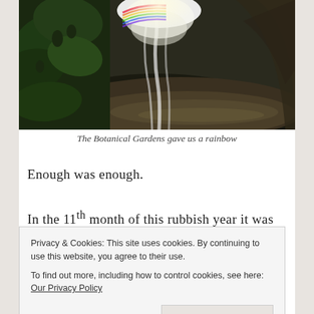[Figure (photo): Photo of a botanical garden waterfall with a rainbow visible in the spray, lush tropical monstera leaves on the left, dark water pool reflecting the scene]
The Botanical Gardens gave us a rainbow
Enough was enough.
In the 11th month of this rubbish year it was time to
Privacy & Cookies: This site uses cookies. By continuing to use this website, you agree to their use.
To find out more, including how to control cookies, see here: Our Privacy Policy
woke up crying and pretty much stayed that way all